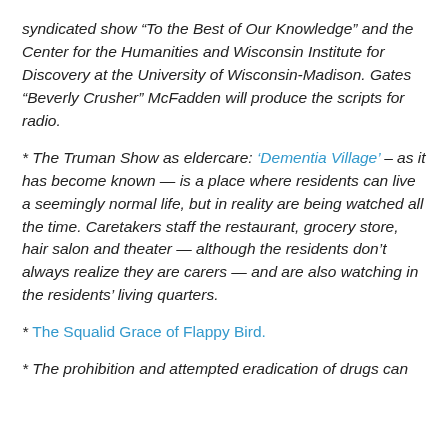syndicated show “To the Best of Our Knowledge” and the Center for the Humanities and Wisconsin Institute for Discovery at the University of Wisconsin-Madison. Gates “Beverly Crusher” McFadden will produce the scripts for radio.
* The Truman Show as eldercare: ‘Dementia Village’ – as it has become known — is a place where residents can live a seemingly normal life, but in reality are being watched all the time. Caretakers staff the restaurant, grocery store, hair salon and theater — although the residents don’t always realize they are carers — and are also watching in the residents’ living quarters.
* The Squalid Grace of Flappy Bird.
* The prohibition and attempted eradication of drugs can